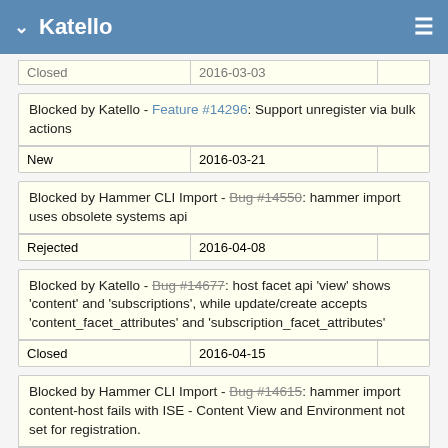Katello
| Status | Date |  |
| --- | --- | --- |
| Closed | 2016-03-03 |  |
| Description | Status | Date |  |
| --- | --- | --- | --- |
| Blocked by Katello - Feature #14296: Support unregister via bulk actions |  |  |  |
| New | 2016-03-21 |  |
| Description | Status | Date |  |
| --- | --- | --- | --- |
| Blocked by Hammer CLI Import - Bug #14550: hammer import uses obsolete systems api |  |  |  |
| Rejected | 2016-04-08 |  |
| Description | Status | Date |  |
| --- | --- | --- | --- |
| Blocked by Katello - Bug #14677: host facet api 'view' shows 'content' and 'subscriptions', while update/create accepts 'content_facet_attributes' and 'subscription_facet_attributes' |  |  |  |
| Closed | 2016-04-15 |  |
| Description | Status | Date |  |
| --- | --- | --- | --- |
| Blocked by Hammer CLI Import - Bug #14615: hammer import content-host fails with ISE - Content View and Environment not set for registration. |  |  |  |
| Closed | 2016-04-13 |  |